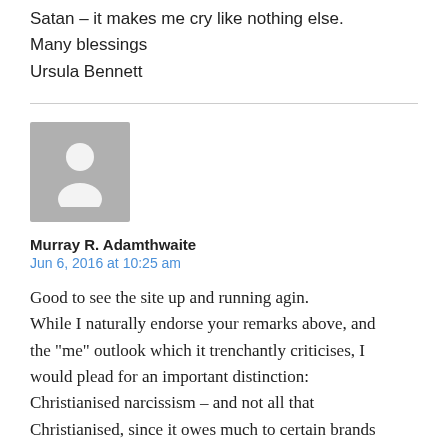support us to do. This is a wholesale sell-out to Satan – it makes me cry like nothing else.
Many blessings
Ursula Bennett
[Figure (illustration): Generic user avatar placeholder image — grey square with white silhouette of a person]
Murray R. Adamthwaite
Jun 6, 2016 at 10:25 am
Good to see the site up and running agin. While I naturally endorse your remarks above, and the “me” outlook which it trenchantly criticises, I would plead for an important distinction: Christianised narcissism – and not all that Christianised, since it owes much to certain brands